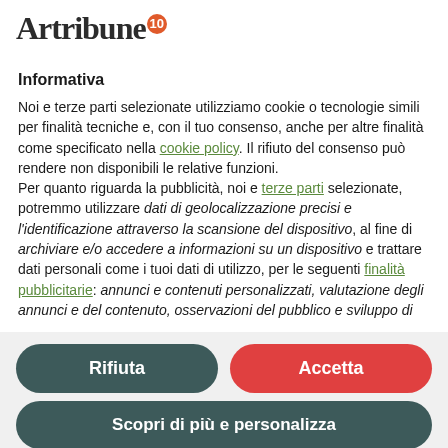[Figure (logo): Artribune logo with gothic/blackletter font and orange circle badge with number 10]
Informativa
Noi e terze parti selezionate utilizziamo cookie o tecnologie simili per finalità tecniche e, con il tuo consenso, anche per altre finalità come specificato nella cookie policy. Il rifiuto del consenso può rendere non disponibili le relative funzioni.
Per quanto riguarda la pubblicità, noi e terze parti selezionate, potremmo utilizzare dati di geolocalizzazione precisi e l'identificazione attraverso la scansione del dispositivo, al fine di archiviare e/o accedere a informazioni su un dispositivo e trattare dati personali come i tuoi dati di utilizzo, per le seguenti finalità pubblicitarie: annunci e contenuti personalizzati, valutazione degli annunci e del contenuto, osservazioni del pubblico e sviluppo di
Rifiuta
Accetta
Scopri di più e personalizza